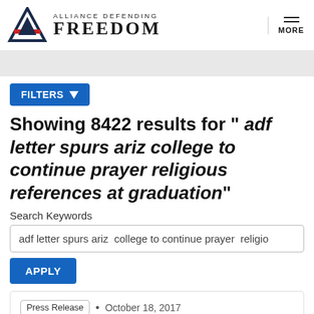ALLIANCE DEFENDING FREEDOM
FILTERS
Showing 8422 results for " adf letter spurs ariz college to continue prayer religious references at graduation"
Search Keywords
adf letter spurs ariz  college to continue prayer  religio
APPLY
Press Release • October 18, 2017